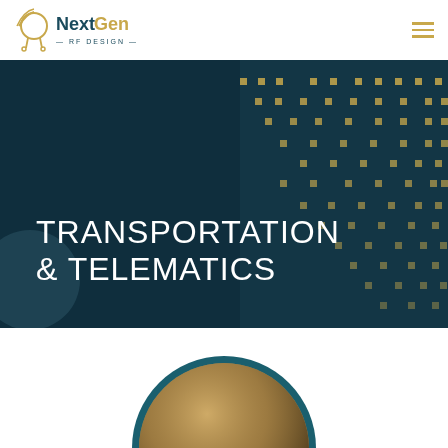[Figure (logo): NextGen RF Design logo with circular antenna icon and text 'NextGen RF DESIGN']
[Figure (photo): Dark teal PCB/electronics circuit board background with golden yellow square dot pattern overlay, hero banner image]
TRANSPORTATION & TELEMATICS
[Figure (photo): Circular cropped photo of RF/electronic component, showing top arc in teal border at bottom of page]